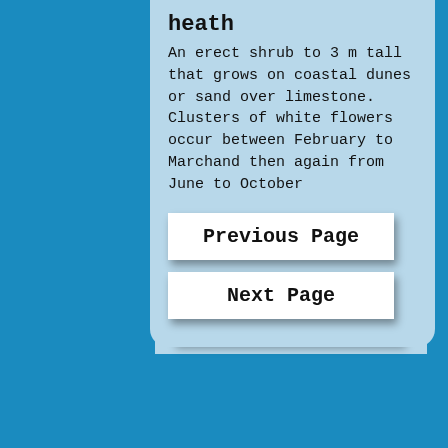heath
An erect shrub to 3 m tall that grows on coastal dunes or sand over limestone. Clusters of white flowers occur between February to Marchand then again from June to October
Previous Page
Next Page
© 2014 by Stirling Natural Environment Coastcare Proudly created by Brian Hadwin | Digital Designer
Webmaster Login